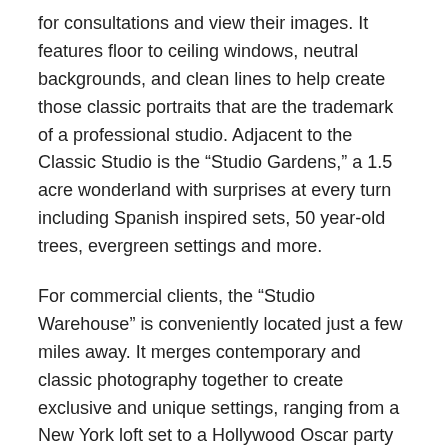for consultations and view their images. It features floor to ceiling windows, neutral backgrounds, and clean lines to help create those classic portraits that are the trademark of a professional studio. Adjacent to the Classic Studio is the “Studio Gardens,” a 1.5 acre wonderland with surprises at every turn including Spanish inspired sets, 50 year-old trees, evergreen settings and more.
For commercial clients, the “Studio Warehouse” is conveniently located just a few miles away. It merges contemporary and classic photography together to create exclusive and unique settings, ranging from a New York loft set to a Hollywood Oscar party with 30 foot of white cyclorama wall. There is even space to bring in a car. However, Cris loves exploring and discovering new places and photographs on location as well. His main goal is to make the portrait experience one to remember.